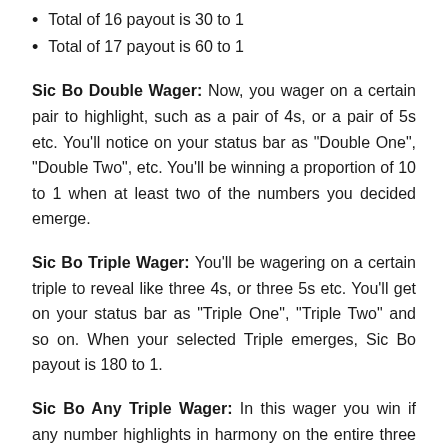Total of 16 payout is 30 to 1
Total of 17 payout is 60 to 1
Sic Bo Double Wager: Now, you wager on a certain pair to highlight, such as a pair of 4s, or a pair of 5s etc. You'll notice on your status bar as "Double One", "Double Two", etc. You'll be winning a proportion of 10 to 1 when at least two of the numbers you decided emerge.
Sic Bo Triple Wager: You'll be wagering on a certain triple to reveal like three 4s, or three 5s etc. You'll get on your status bar as "Triple One", "Triple Two" and so on. When your selected Triple emerges, Sic Bo payout is 180 to 1.
Sic Bo Any Triple Wager: In this wager you win if any number highlights in harmony on the entire three dice. The Sic Bo three of a kind wager offers you 30 to 1 ratio